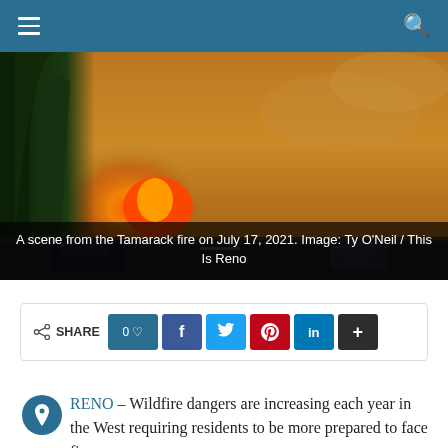Navigation bar with hamburger menu and search icon
[Figure (photo): A scene from the Tamarack wildfire showing trees on the left, orange fire and smoke in the background, a dark road in the foreground with two vehicle silhouettes, smoky orange sky.]
A scene from the Tamarack fire on July 17, 2021. Image: Ty O'Neil / This Is Reno
SHARE 0 [like] [Facebook] [Twitter] [Pinterest] [LinkedIn] [+]
RENO – Wildfire dangers are increasing each year in the West requiring residents to be more prepared to face fire